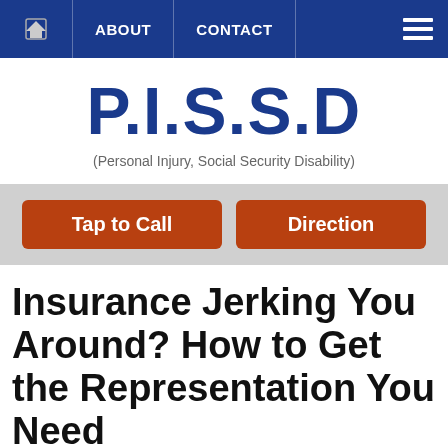ABOUT   CONTACT
P.I.S.S.D
(Personal Injury, Social Security Disability)
Tap to Call   Direction
Insurance Jerking You Around? How to Get the Representation You Need